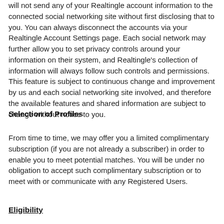will not send any of your Realtingle account information to the connected social networking site without first disclosing that to you. You can always disconnect the accounts via your Realtingle Account Settings page. Each social network may further allow you to set privacy controls around your information on their system, and Realtingle's collection of information will always follow such controls and permissions. This feature is subject to continuous change and improvement by us and each social networking site involved, and therefore the available features and shared information are subject to change without notice to you.
Selection of Profiles
From time to time, we may offer you a limited complimentary subscription (if you are not already a subscriber) in order to enable you to meet potential matches. You will be under no obligation to accept such complimentary subscription or to meet with or communicate with any Registered Users.
Eligibility